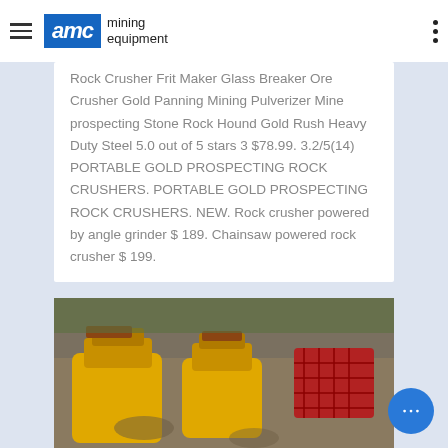AMC mining equipment
Rock Crusher Frit Maker Glass Breaker Ore Crusher Gold Panning Mining Pulverizer Mine prospecting Stone Rock Hound Gold Rush Heavy Duty Steel 5.0 out of 5 stars 3 $78.99. 3.2/5(14) PORTABLE GOLD PROSPECTING ROCK CRUSHERS. PORTABLE GOLD PROSPECTING ROCK CRUSHERS. NEW. Rock crusher powered by angle grinder $ 189. Chainsaw powered rock crusher $ 199.
[Figure (photo): Yellow cone crusher machines in a rocky outdoor mining environment, with red equipment visible in the background.]